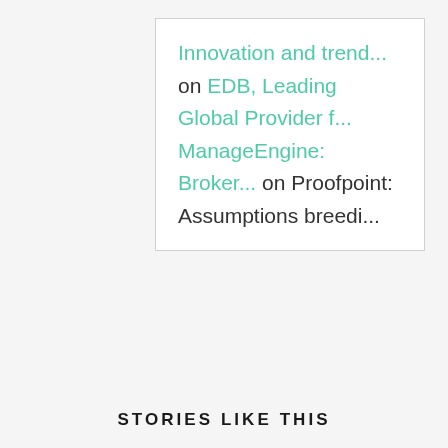Innovation and trend... on EDB, Leading Global Provider f... ManageEngine: Broker... on Proofpoint: Assumptions breedi...
STORIES LIKE THIS